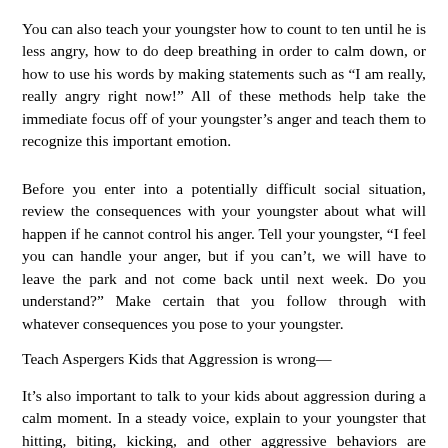You can also teach your youngster how to count to ten until he is less angry, how to do deep breathing in order to calm down, or how to use his words by making statements such as “I am really, really angry right now!” All of these methods help take the immediate focus off of your youngster’s anger and teach them to recognize this important emotion.
Before you enter into a potentially difficult social situation, review the consequences with your youngster about what will happen if he cannot control his anger. Tell your youngster, “I feel you can handle your anger, but if you can’t, we will have to leave the park and not come back until next week. Do you understand?” Make certain that you follow through with whatever consequences you pose to your youngster.
Teach Aspergers Kids that Aggression is wrong—
It’s also important to talk to your kids about aggression during a calm moment. In a steady voice, explain to your youngster that hitting, biting, kicking, and other aggressive behaviors are wrong. For younger kids, those between 18 months and 2 years, keep it